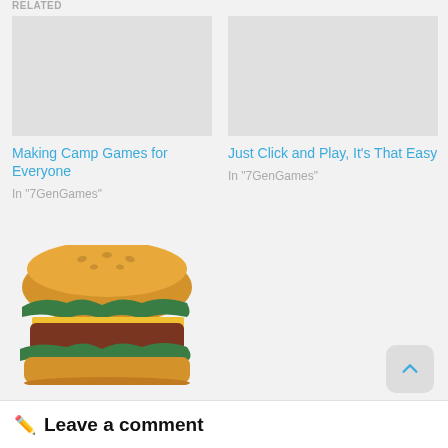RELATED
Making Camp Games for Everyone
In "7GenGames"
Just Click and Play, It's That Easy
In "7GenGames"
[Figure (illustration): Cartoon illustration of a hamburger with bun, lettuce, cheese, and beef patty layers]
VIDEO – Problem solving: Start at the End
In "7GenGames"
Leave a comment